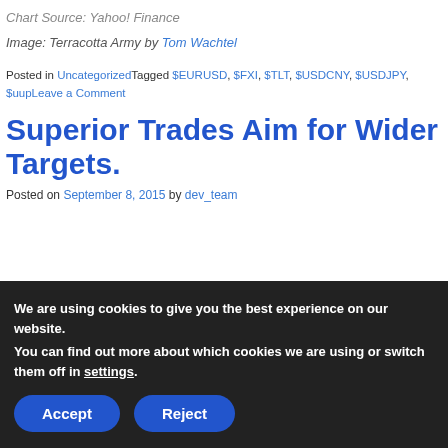Chart Source: Yahoo! Finance
Image: Terracotta Army by Tom Wachtel
Posted in Uncategorized Tagged $EURUSD, $FXI, $TLT, $USDCNY, $USDJPY, $uup Leave a Comment
Superior Trades Aim for Wider Targets.
Posted on September 8, 2015 by dev_team
We are using cookies to give you the best experience on our website.
You can find out more about which cookies we are using or switch them off in settings.